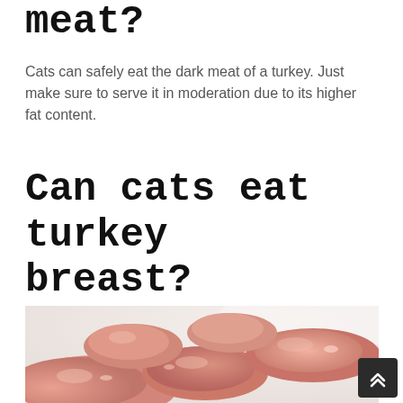meat?
Cats can safely eat the dark meat of a turkey. Just make sure to serve it in moderation due to its higher fat content.
Can cats eat turkey breast?
[Figure (photo): Raw turkey breast meat pieces, pink and glistening, piled on a white surface, close-up shot]